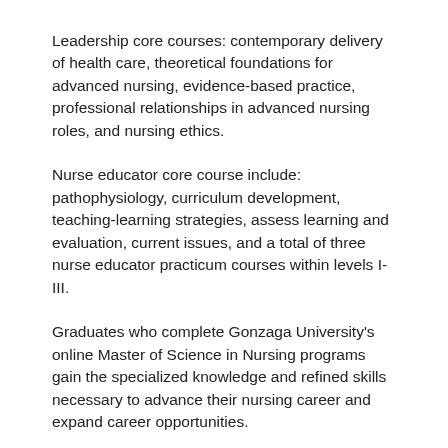Leadership core courses: contemporary delivery of health care, theoretical foundations for advanced nursing, evidence-based practice, professional relationships in advanced nursing roles, and nursing ethics.
Nurse educator core course include: pathophysiology, curriculum development, teaching-learning strategies, assess learning and evaluation, current issues, and a total of three nurse educator practicum courses within levels I-III.
Graduates who complete Gonzaga University's online Master of Science in Nursing programs gain the specialized knowledge and refined skills necessary to advance their nursing career and expand career opportunities.